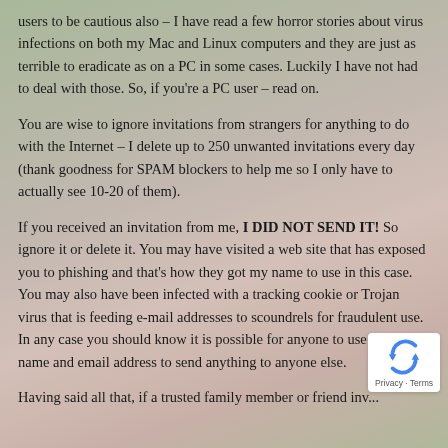users to be cautious also – I have read a few horror stories about virus infections on both my Mac and Linux computers and they are just as terrible to eradicate as on a PC in some cases. Luckily I have not had to deal with those. So, if you're a PC user – read on.
You are wise to ignore invitations from strangers for anything to do with the Internet – I delete up to 250 unwanted invitations every day (thank goodness for SPAM blockers to help me so I only have to actually see 10-20 of them).
If you received an invitation from me, I DID NOT SEND IT! So ignore it or delete it. You may have visited a web site that has exposed you to phishing and that's how they got my name to use in this case. You may also have been infected with a tracking cookie or Trojan virus that is feeding e-mail addresses to scoundrels for fraudulent use. In any case you should know it is possible for anyone to use your name and email address to send anything to anyone else.
Having said all that, if a trusted family member or friend inv...
[Figure (logo): Google reCAPTCHA badge with Privacy and Terms text]